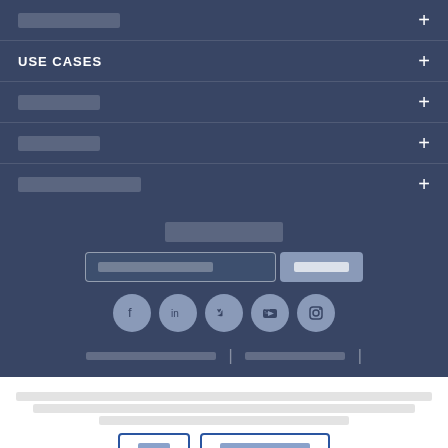██████████
USE CASES
████████
████████
████████████
██████████
████████████
███████
[Figure (other): Social media icons: Facebook, LinkedIn, Twitter, YouTube, Instagram]
████████████████ | ██████████████ |
████████████████████████████████████████████████████████████████████████████████████████████████████████ ██████████████████ ████████████████████████████████████████████████████████████████████████████████████████████████ ████████████████████
████
██████████████